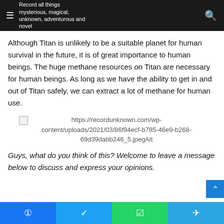Record all things mysterious, magical, unknown, adventurous and novel
Although Titan is unlikely to be a suitable planet for human survival in the future, it is of great importance to human beings. The huge methane resources on Titan are necessary for human beings. As long as we have the ability to get in and out of Titan safely, we can extract a lot of methane for human use.
[Figure (photo): Broken image with URL: https://recordunknown.com/wp-content/uploads/2021/03/86f94ecf-b785-46e9-b268-69d39dabb246_5.jpegAlt]
Guys, what do you think of this? Welcome to leave a message below to discuss and express your opinions.
Social sharing bar: Facebook, Twitter, WhatsApp, Telegram